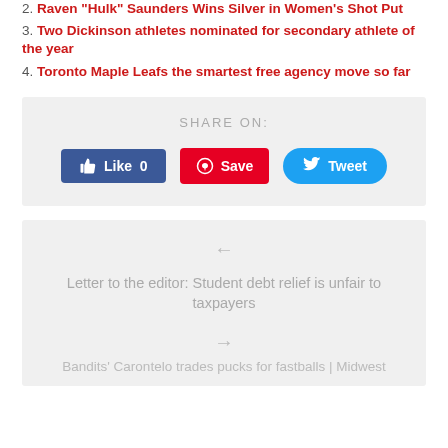2. Raven "Hulk" Saunders Wins Silver in Women's Shot Put
3. Two Dickinson athletes nominated for secondary athlete of the year
4. Toronto Maple Leafs the smartest free agency move so far
SHARE ON:
[Figure (infographic): Social share buttons: Like 0 (Facebook blue), Save (Pinterest red), Tweet (Twitter blue)]
[Figure (infographic): Navigation box with left arrow, article title 'Letter to the editor: Student debt relief is unfair to taxpayers', right arrow, and partial next article title 'Bandits' Carontelo trades pucks for fastballs | Midwest']